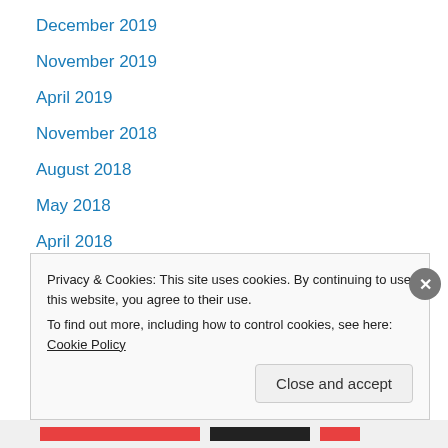December 2019
November 2019
April 2019
November 2018
August 2018
May 2018
April 2018
March 2018
February 2018
December 2017
November 2017
October 2017
May 2017
Privacy & Cookies: This site uses cookies. By continuing to use this website, you agree to their use. To find out more, including how to control cookies, see here: Cookie Policy